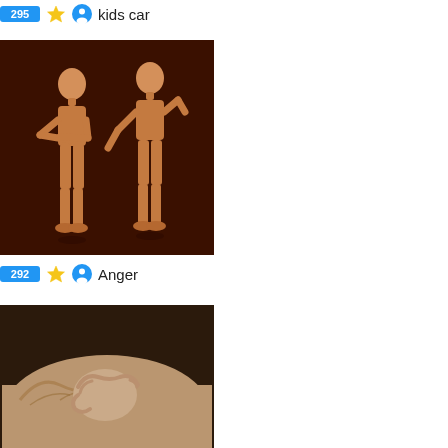295 ★ 👤 kids car
[Figure (photo): Two wooden artist mannequins facing each other on a dark brown background, one with arms crossed and one with arms extended in an explanatory gesture]
292 ★ 👤 Anger
[Figure (photo): Black and white / sepia close-up photo of a baby's tiny hand grasping an adult finger]